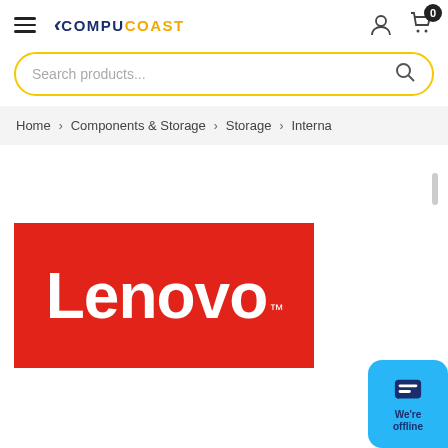CompuCoast header with hamburger menu, logo, user icon, and cart (0 items)
Search products...
Home > Components & Storage > Storage > Interna
[Figure (logo): Lenovo logo — white 'Lenovo' wordmark with TM mark on red background]
[Figure (other): Live chat bubble widget showing 'We're offline' on cyan/blue background]